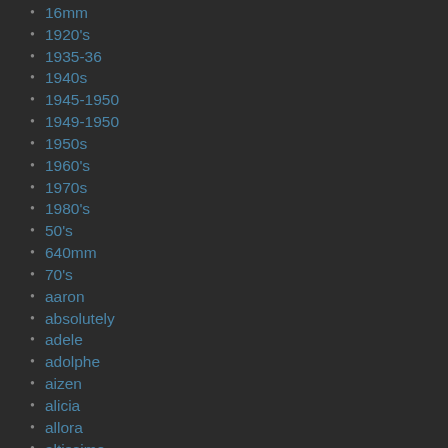16mm
1920's
1935-36
1940s
1945-1950
1949-1950
1950s
1960's
1970s
1980's
50's
640mm
70's
aaron
absolutely
adele
adolphe
aizen
alicia
allora
altissimo
alto
altosax